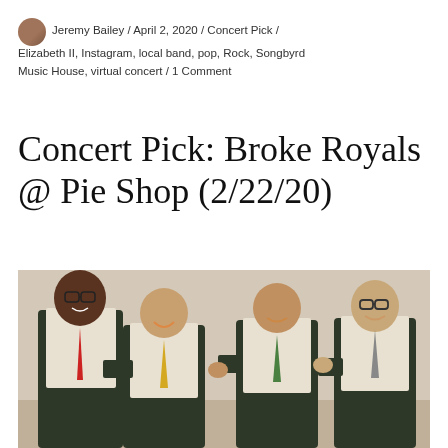Jeremy Bailey / April 2, 2020 / Concert Pick / Elizabeth II, Instagram, local band, pop, Rock, Songbyrd Music House, virtual concert / 1 Comment
Concert Pick: Broke Royals @ Pie Shop (2/22/20)
[Figure (photo): Four young men in dark vests and dress shirts smiling together for a group photo. The leftmost man wears a red tie, the second wears a yellow/gold tie, the third wears a green tie, and the fourth wears a grey tie with glasses.]